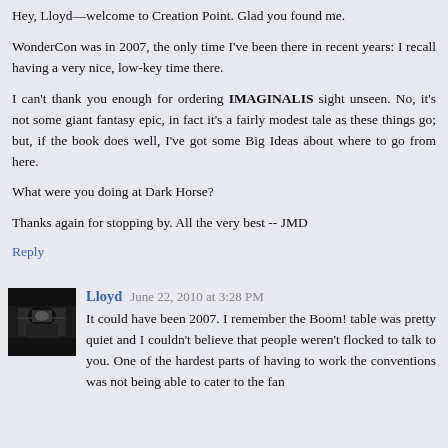Hey, Lloyd—welcome to Creation Point. Glad you found me.
WonderCon was in 2007, the only time I've been there in recent years: I recall having a very nice, low-key time there.
I can't thank you enough for ordering IMAGINALIS sight unseen. No, it's not some giant fantasy epic, in fact it's a fairly modest tale as these things go; but, if the book does well, I've got some Big Ideas about where to go from here.
What were you doing at Dark Horse?
Thanks again for stopping by. All the very best -- JMD
Reply
Lloyd  June 22, 2010 at 3:28 PM
It could have been 2007. I remember the Boom! table was pretty quiet and I couldn't believe that people weren't flocked to talk to you. One of the hardest parts of having to work the conventions was not being able to cater to the fan